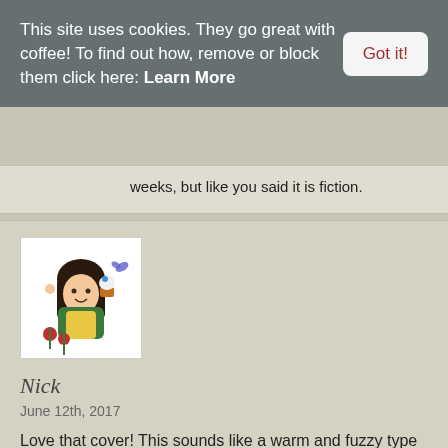This site uses cookies. They go great with coffee! To find out how, remove or block them click here: Learn More
Got it!
weeks, but like you said it is fiction.
[Figure (illustration): Illustrated avatar of a young woman with dark hair, holding a cupcake, surrounded by floral decorations]
Nick
June 12th, 2017
Love that cover! This sounds like a warm and fuzzy type of read perfect for Jill Shalvis fans! So that means I will most definitely need to try it. 😊 Lovely review, Kim! Glad your dates with the book went well.